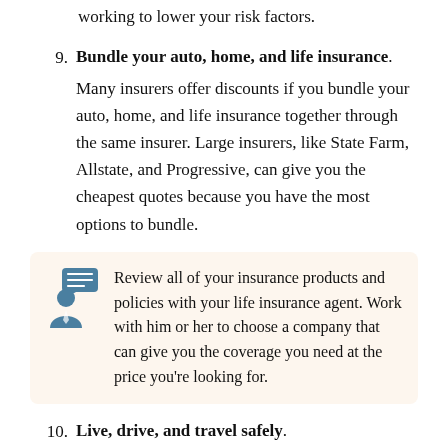working to lower your risk factors.
9. Bundle your auto, home, and life insurance. Many insurers offer discounts if you bundle your auto, home, and life insurance together through the same insurer. Large insurers, like State Farm, Allstate, and Progressive, can give you the cheapest quotes because you have the most options to bundle.
[Figure (illustration): Person/agent icon with speech bubble, inside a beige callout box]
Review all of your insurance products and policies with your life insurance agent. Work with him or her to choose a company that can give you the coverage you need at the price you're looking for.
10. Live, drive, and travel safely. When you apply for a life insurance policy, the insurer checks your driving record, occupation, and hobbies.
If you have several tickets for speeding or have been